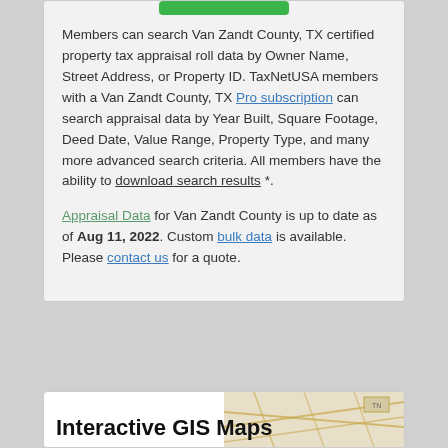Members can search Van Zandt County, TX certified property tax appraisal roll data by Owner Name, Street Address, or Property ID. TaxNetUSA members with a Van Zandt County, TX Pro subscription can search appraisal data by Year Built, Square Footage, Deed Date, Value Range, Property Type, and many more advanced search criteria. All members have the ability to download search results *.
Appraisal Data for Van Zandt County is up to date as of Aug 11, 2022. Custom bulk data is available. Please contact us for a quote.
Interactive GIS Maps